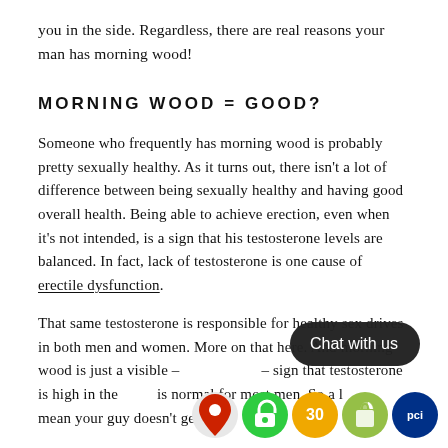you in the side. Regardless, there are real reasons your man has morning wood!
MORNING WOOD = GOOD?
Someone who frequently has morning wood is probably pretty sexually healthy. As it turns out, there isn't a lot of difference between being sexually healthy and having good overall health. Being able to achieve erection, even when it's not intended, is a sign that his testosterone levels are balanced. In fact, lack of testosterone is one cause of erectile dysfunction.
That same testosterone is responsible for healthy sex drives in both men and women. More on that here. And morning wood is just a visible – – sign that testosterone is high in the is normal for most men. So a l mean your guy doesn't get e